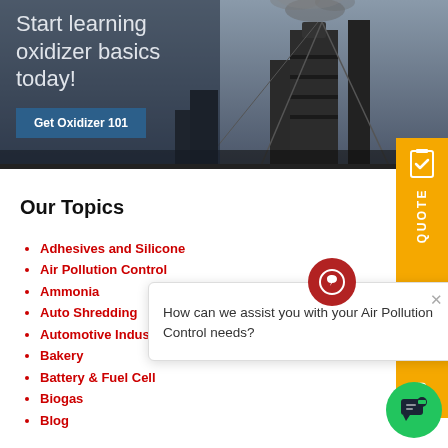[Figure (photo): Industrial smokestacks with smoke rising against overcast sky, dark blue-gray toned photograph used as banner background]
Start learning oxidizer basics today!
Get Oxidizer 101
Our Topics
Adhesives and Silicone
Air Pollution Control
Ammonia
Auto Shredding
Automotive Industry
Bakery
Battery & Fuel Cell
Biogas
Blog
How can we assist you with your Air Pollution Control needs?